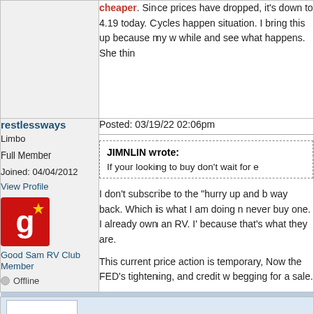cheaper. Since prices have dropped, it's down to 4.19 today. Cycles happen situation. I bring this up because my w while and see what happens. She thin
restlessways
Limbo
Full Member
Joined: 04/04/2012
View Profile
Good Sam RV Club Member
Offline
Posted: 03/19/22 02:06pm
JIMNLIN wrote:
If your looking to buy don't wait for e
I don't subscribe to the "hurry up and b way back. Which is what I am doing n never buy one. I already own an RV. I' because that's what they are.

This current price action is temporary, Now the FED's tightening, and credit w begging for a sale.
Bedlam
PNW
Posted: 03/20/22 01:49am
I have slowed down the timeline on h